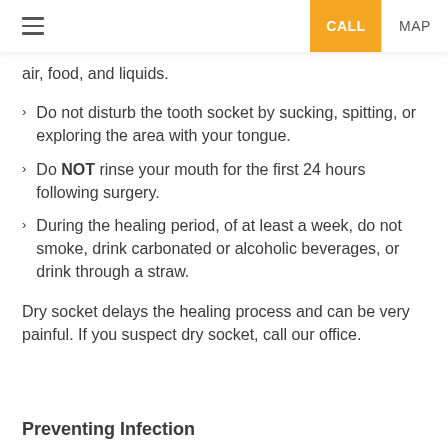CALL  MAP
air, food, and liquids.
Do not disturb the tooth socket by sucking, spitting, or exploring the area with your tongue.
Do NOT rinse your mouth for the first 24 hours following surgery.
During the healing period, of at least a week, do not smoke, drink carbonated or alcoholic beverages, or drink through a straw.
Dry socket delays the healing process and can be very painful. If you suspect dry socket, call our office.
Preventing Infection